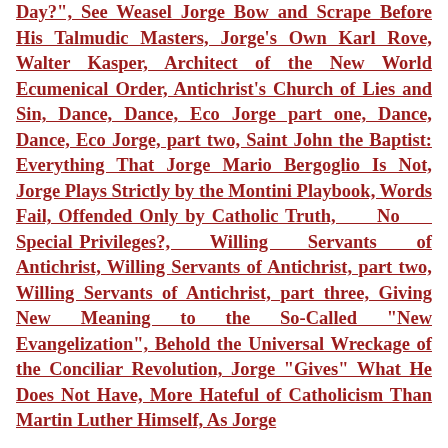Day?", See Weasel Jorge Bow and Scrape Before His Talmudic Masters, Jorge's Own Karl Rove, Walter Kasper, Architect of the New World Ecumenical Order, Antichrist's Church of Lies and Sin, Dance, Dance, Eco Jorge part one, Dance, Dance, Eco Jorge, part two, Saint John the Baptist: Everything That Jorge Mario Bergoglio Is Not, Jorge Plays Strictly by the Montini Playbook, Words Fail, Offended Only by Catholic Truth, No Special Privileges?, Willing Servants of Antichrist, Willing Servants of Antichrist, part two, Willing Servants of Antichrist, part three, Giving New Meaning to the So-Called "New Evangelization", Behold the Universal Wreckage of the Conciliar Revolution, Jorge "Gives" What He Does Not Have, More Hateful of Catholicism Than Martin Luther Himself, As Jorge